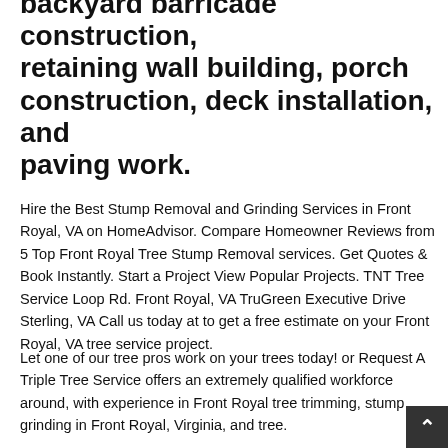backyard barricade construction, retaining wall building, porch construction, deck installation, and paving work.
Hire the Best Stump Removal and Grinding Services in Front Royal, VA on HomeAdvisor. Compare Homeowner Reviews from 5 Top Front Royal Tree Stump Removal services. Get Quotes & Book Instantly. Start a Project View Popular Projects. TNT Tree Service Loop Rd. Front Royal, VA TruGreen Executive Drive Sterling, VA Call us today at to get a free estimate on your Front Royal, VA tree service project.
Let one of our tree pros work on your trees today! or Request A Triple Tree Service offers an extremely qualified workforce around, with experience in Front Royal tree trimming, stump grinding in Front Royal, Virginia, and tree.
Find top-rated Front Royal, VA stump grinding services for your home project on Houzz.
Items Needing Service: There are